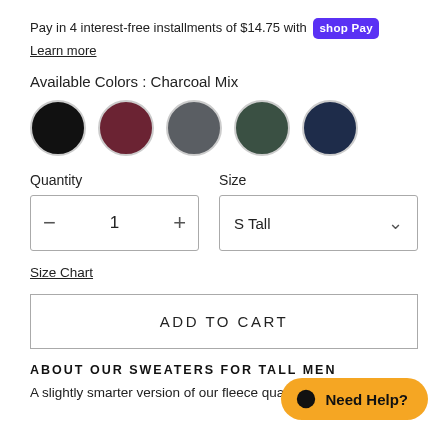Pay in 4 interest-free installments of $14.75 with shop Pay
Learn more
Available Colors : Charcoal Mix
[Figure (other): Five color swatches: Black, Maroon/Dark Red, Charcoal/Slate Gray, Dark Green, Navy Blue]
Quantity
Size
- 1 +
S Tall
Size Chart
ADD TO CART
ABOUT OUR SWEATERS FOR TALL MEN
A slightly smarter version of our fleece quarter-zip, this tall
[Figure (other): Orange Need Help? chat button with speech bubble icon]